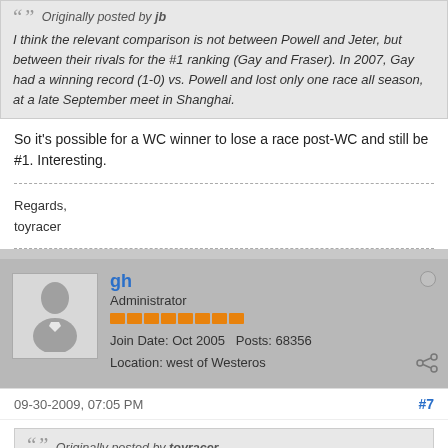Originally posted by jb
I think the relevant comparison is not between Powell and Jeter, but between their rivals for the #1 ranking (Gay and Fraser). In 2007, Gay had a winning record (1-0) vs. Powell and lost only one race all season, at a late September meet in Shanghai.
So it's possible for a WC winner to lose a race post-WC and still be #1. Interesting.
Regards,
toyracer
gh
Administrator
Join Date: Oct 2005   Posts: 68356
Location: west of Westeros
09-30-2009, 07:05 PM
#7
Originally posted by toyracer
....